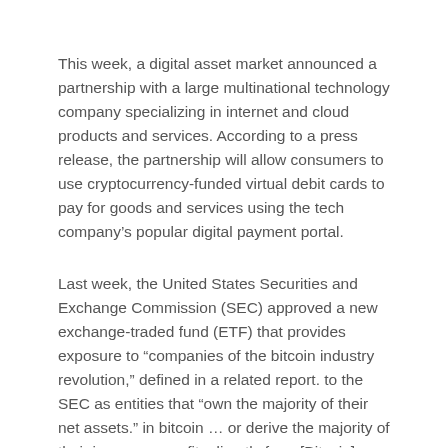This week, a digital asset market announced a partnership with a large multinational technology company specializing in internet and cloud products and services. According to a press release, the partnership will allow consumers to use cryptocurrency-funded virtual debit cards to pay for goods and services using the tech company's popular digital payment portal.
Last week, the United States Securities and Exchange Commission (SEC) approved a new exchange-traded fund (ETF) that provides exposure to “companies of the bitcoin industry revolution,” defined in a related report. to the SEC as entities that “own the majority of their net assets.” in bitcoin … or derive the majority of their income or profits directly from [Bitcoin] mining, loan or transaction. In a related development, the price of bitcoin has reportedly surpassed $ 60,000 for the first time in nearly six months following a report that a bitcoin futures ETF may soon be approved by the SEC.